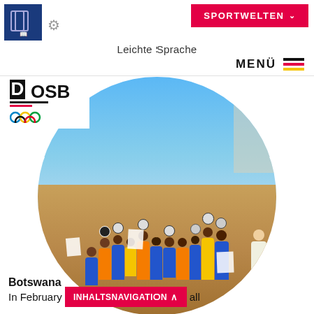Leichte Sprache
[Figure (photo): Children in colorful soccer uniforms holding soccer balls in the air, grouped together outdoors in Botswana. They wear blue, orange, and yellow kits. Circular crop.]
Botswana
In February INHALTSNAVIGATION ^ all ...